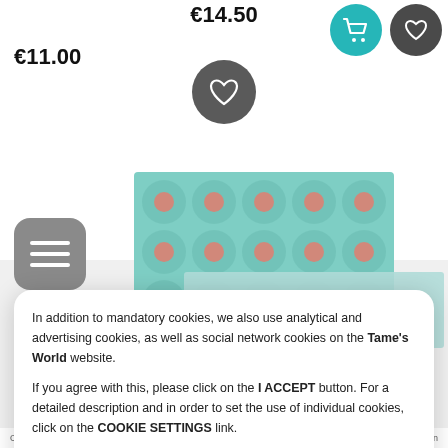€14.50
€11.00
[Figure (screenshot): E-commerce product page screenshot showing decorative paper products with floral teal/pink pattern, cookie consent dialog overlay, navigation buttons including cart, wishlist, and hamburger menu icons]
In addition to mandatory cookies, we also use analytical and advertising cookies, as well as social network cookies on the Tame's World website.

If you agree with this, please click on the I ACCEPT button. For a detailed description and in order to set the use of individual cookies, click on the COOKIE SETTINGS link.
I ACCEPT
Cookie Settings
Obojestransko natisnjen   Obojestransko natisnjen